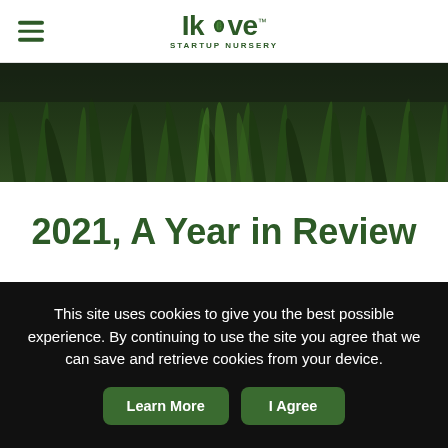Ikove Startup Nursery
[Figure (photo): Dark green grass blades close-up, blurred background, used as a hero/banner image]
2021, A Year in Review
This site uses cookies to give you the best possible experience. By continuing to use the site you agree that we can save and retrieve cookies from your device.
Learn More  I Agree